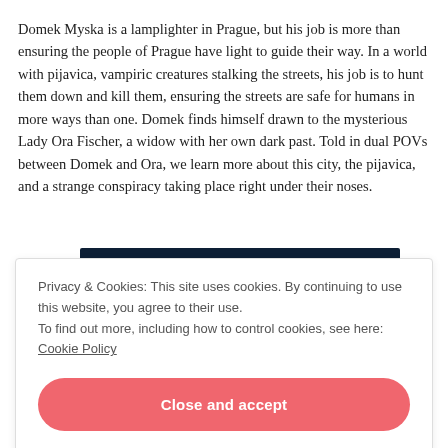Domek Myska is a lamplighter in Prague, but his job is more than ensuring the people of Prague have light to guide their way. In a world with pijavica, vampiric creatures stalking the streets, his job is to hunt them down and kill them, ensuring the streets are safe for humans in more ways than one. Domek finds himself drawn to the mysterious Lady Ora Fischer, a widow with her own dark past. Told in dual POVs between Domek and Ora, we learn more about this city, the pijavica, and a strange conspiracy taking place right under their noses.
Privacy & Cookies: This site uses cookies. By continuing to use this website, you agree to their use.
To find out more, including how to control cookies, see here: Cookie Policy
Close and accept